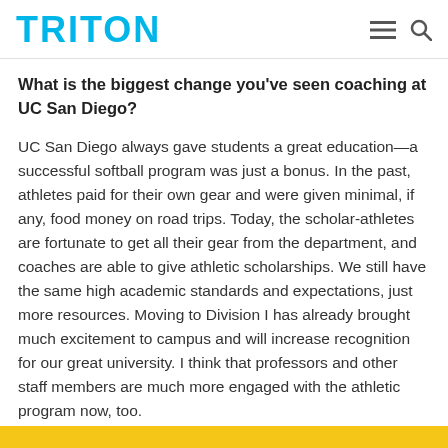TRITON
What is the biggest change you've seen coaching at UC San Diego?
UC San Diego always gave students a great education—a successful softball program was just a bonus. In the past, athletes paid for their own gear and were given minimal, if any, food money on road trips. Today, the scholar-athletes are fortunate to get all their gear from the department, and coaches are able to give athletic scholarships. We still have the same high academic standards and expectations, just more resources. Moving to Division I has already brought much excitement to campus and will increase recognition for our great university. I think that professors and other staff members are much more engaged with the athletic program now, too.